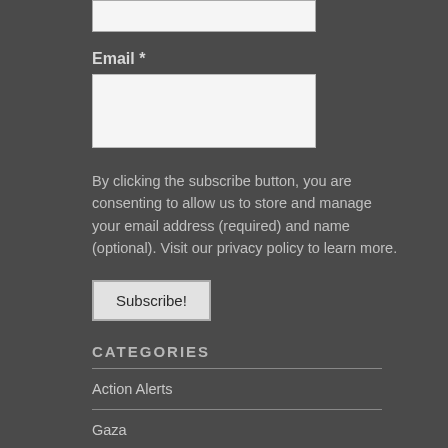Email *
By clicking the subscribe button, you are consenting to allow us to store and manage your email address (required) and name (optional). Visit our privacy policy to learn more.
Subscribe!
CATEGORIES
Action Alerts
Gaza
Hebron